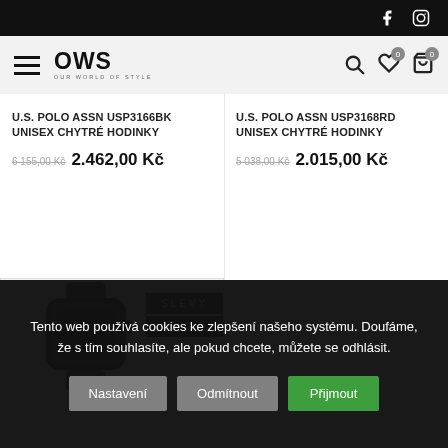OWS - Our World of Style navigation with social icons, search, wishlist, cart
U.S. POLO ASSN USP3166BK UNISEX CHYTRÉ HODINKY
6 155,00 Kč 2.462,00 Kč
U.S. POLO ASSN USP3168RD UNISEX CHYTRÉ HODINKY
5 038,00 Kč 2.015,00 Kč
[Figure (photo): Smart watch product image with SLEVY -60% badge overlay]
Tento web používá cookies ke zlepšení našeho systému. Doufáme, že s tím souhlasíte, ale pokud chcete, můžete se odhlásit.
Nastavení
Odmítnout
Přijmout